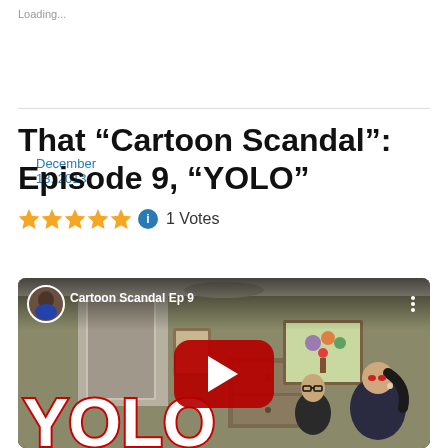Loading...
December 13, 2013
That “Cartoon Scandal”: Episode 9, “YOLO”
1 Votes
[Figure (screenshot): YouTube video thumbnail showing Cartoon Scandal Ep 9 with animated characters and YOLO text overlay, with a red YouTube play button in the center]